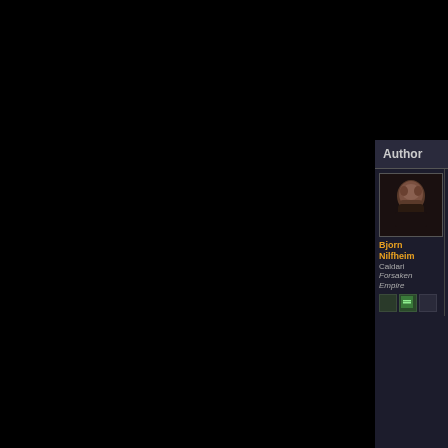| Author | Post Content |
| --- | --- |
| Bjorn Nilfheim
Caldari
Forsaken Empire | Posted - 2006.08.08 04:04:00 - [1]

This prime Gallente Administrative Outpost egg is now in Jita, ready for your pickup. All you need to be is the owner of a Gallente Administrative Outpost
----------------------------
Admiral of the Forsaken Fleets
Pillar of the Fallen Emperor |
| WallStArb
CyberDyne R-D | Posted - 2006.08.08 08:18:00 - [2]

Krullz -> The egg isn't yours to sell. So y

Some must die so others may become im |
| Bjorn Nilfheim | Posted - 2006.08.08 13:22:00 - [3]

So I thought, but no developing alliances
----------------------------
Admiral of the Forsaken Fleets
Pillar of the Fallen Emperor |